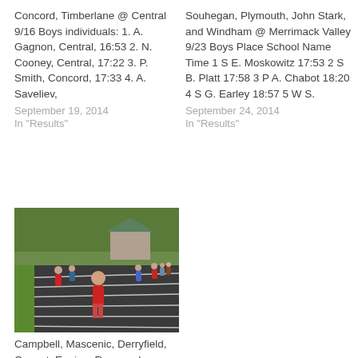Concord, Timberlane @ Central 9/16 Boys individuals: 1. A. Gagnon, Central, 16:53 2. N. Cooney, Central, 17:22 3. P. Smith, Concord, 17:33 4. A. Saveliev,
September 19, 2014
In "Results"
Souhegan, Plymouth, John Stark, and Windham @ Merrimack Valley 9/23 Boys Place School Name Time 1 S E. Moskowitz 17:53 2 S B. Platt 17:58 3 P A. Chabot 18:20 4 S G. Earley 18:57 5 W S.
September 24, 2014
In "Results"
[Figure (photo): Athletes running on a track at an outdoor cross country or track event. A runner in a red outfit is visible in the foreground, with more runners and spectators in the background near trees and a small building.]
Campbell, Mascenic, Derryfield, Conant, Epping, Raymond, Newmarket – 9/9/14
September 10, 2014
In "NHCC"